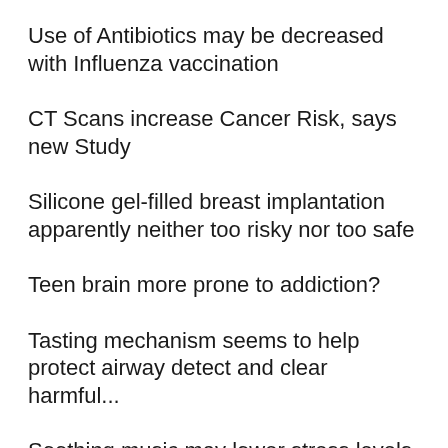Use of Antibiotics may be decreased with Influenza vaccination
CT Scans increase Cancer Risk, says new Study
Silicone gel-filled breast implantation apparently neither too risky nor too safe
Teen brain more prone to addiction?
Tasting mechanism seems to help protect airway detect and clear harmful...
Soothing music may lower stress levels in pregnant women